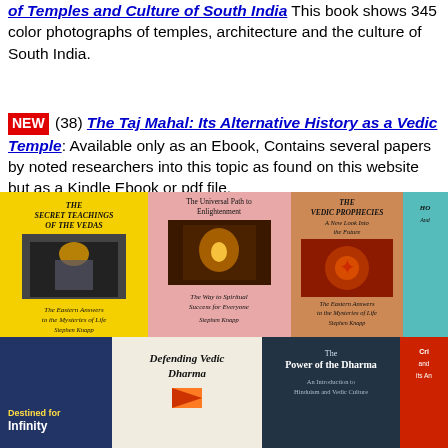of Temples and Culture of South India This book shows 345 color photographs of temples, architecture and the culture of South India.
NEW (38) The Taj Mahal: Its Alternative History as a Vedic Temple: Available only as an Ebook, Contains several papers by noted researchers into this topic as found on this website but as a Kindle Ebook or pdf file.
[Figure (photo): Collection of book covers by Stephen Knapp including The Secret Teachings of the Vedas, The Universal Path to Enlightenment, The Vedic Prophecies, Destined for Infinity, Defending Vedic Dharma, The Power of the Dharma, and others.]